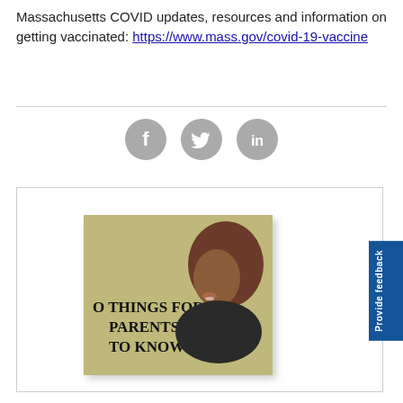Massachusetts COVID updates, resources and information on getting vaccinated: https://www.mass.gov/covid-19-vaccine
[Figure (illustration): Three social media icon buttons: Facebook (f), Twitter (bird), LinkedIn (in) — circular gray icons in a row]
[Figure (photo): A photo showing a woman with curly hair smiling in profile, against a tan/olive background with partial text reading '0 THINGS FOR PARENTS TO KNOW']